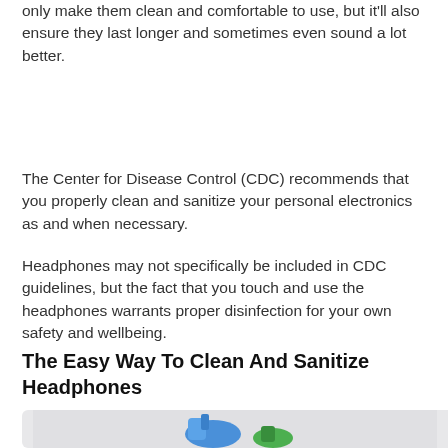only make them clean and comfortable to use, but it'll also ensure they last longer and sometimes even sound a lot better.
The Center for Disease Control (CDC) recommends that you properly clean and sanitize your personal electronics as and when necessary.
Headphones may not specifically be included in CDC guidelines, but the fact that you touch and use the headphones warrants proper disinfection for your own safety and wellbeing.
The Easy Way To Clean And Sanitize Headphones
[Figure (photo): Two spray bottle nozzles (blue and green) on a light gray background, representing cleaning and sanitizing supplies.]